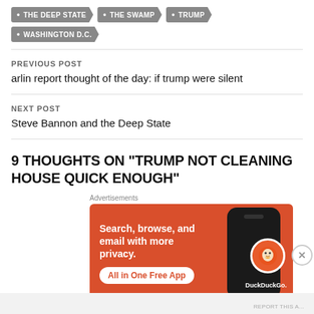THE DEEP STATE
THE SWAMP
TRUMP
WASHINGTON D.C.
PREVIOUS POST
arlin report thought of the day: if trump were silent
NEXT POST
Steve Bannon and the Deep State
9 THOUGHTS ON "TRUMP NOT CLEANING HOUSE QUICK ENOUGH"
[Figure (screenshot): DuckDuckGo advertisement banner with orange background showing text 'Search, browse, and email with more privacy. All in One Free App' with a phone mockup and DuckDuckGo logo]